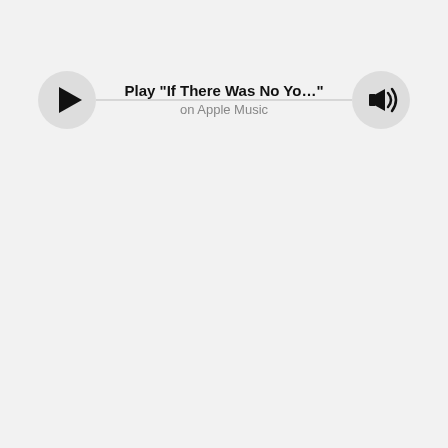[Figure (screenshot): Apple Music inline player bar with play button (circle with triangle) on the left, volume/speaker button (circle with speaker icon) on the right, and a horizontal gray line connecting them. Center text shows song title 'Play "If There Was No Yo..."' in bold and 'on Apple Music' in gray below it.]